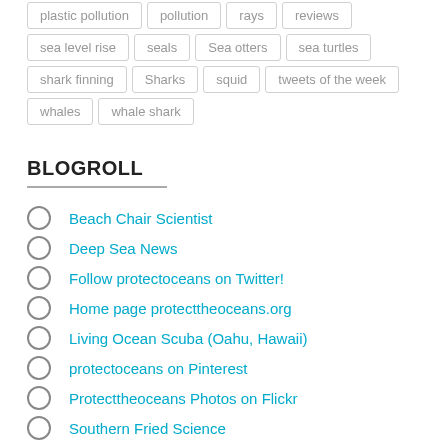plastic pollution
pollution
rays
reviews
sea level rise
seals
Sea otters
sea turtles
shark finning
Sharks
squid
tweets of the week
whales
whale shark
BLOGROLL
Beach Chair Scientist
Deep Sea News
Follow protectoceans on Twitter!
Home page protecttheoceans.org
Living Ocean Scuba (Oahu, Hawaii)
protectoceans on Pinterest
Protecttheoceans Photos on Flickr
Southern Fried Science